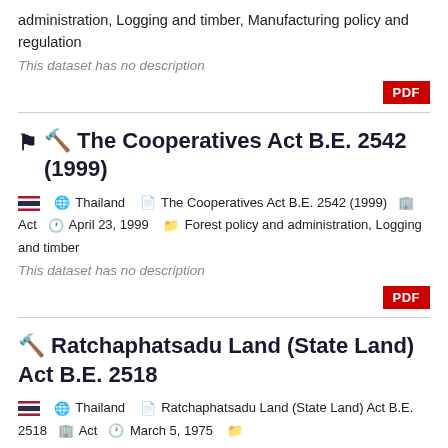administration, Logging and timber, Manufacturing policy and regulation
This dataset has no description
[Figure (other): PDF button (red background, white text)]
The Cooperatives Act B.E. 2542 (1999)
Thailand   The Cooperatives Act B.E. 2542 (1999)   Act   April 23, 1999   Forest policy and administration, Logging and timber
This dataset has no description
[Figure (other): PDF button (red background, white text)]
Ratchaphatsadu Land (State Land) Act B.E. 2518
Thailand   Ratchaphatsadu Land (State Land) Act B.E. 2518   Act   March 5, 1975